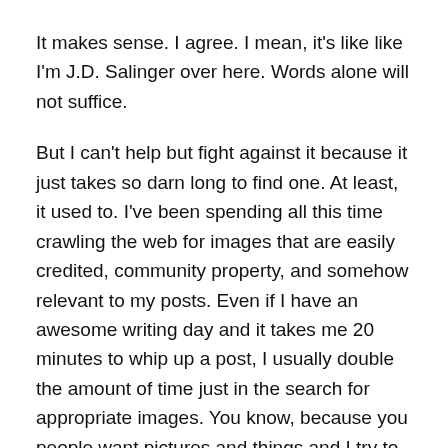It makes sense.  I agree.  I mean, it's like like I'm J.D. Salinger over here.  Words alone will not suffice.
But I can't help but fight against it because it just takes so darn long to find one.  At least, it used to.    I've been spending all this time crawling the web for images that are easily credited, community property, and somehow relevant to my posts.  Even if I have an awesome writing day and it takes me 20 minutes to whip up a post, I usually double the amount of time just in the search for appropriate images.   You know, because you people want pictures and things and I try to sometimes care about your needs.
That's right: I do it for you.
But my problems are finally coming to an end.   So don't